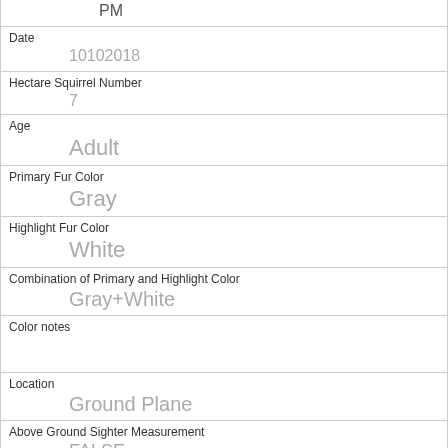| PM |  |
| Date | 10102018 |
| Hectare Squirrel Number | 7 |
| Age | Adult |
| Primary Fur Color | Gray |
| Highlight Fur Color | White |
| Combination of Primary and Highlight Color | Gray+White |
| Color notes |  |
| Location | Ground Plane |
| Above Ground Sighter Measurement | FALSE |
| Specific Location |  |